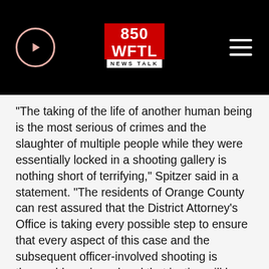850 WFTL NEWS TALK
"The taking of the life of another human being is the most serious of crimes and the slaughter of multiple people while they were essentially locked in a shooting gallery is nothing short of terrifying," Spitzer said in a statement. "The residents of Orange County can rest assured that the District Attorney's Office is taking every possible step to ensure that every aspect of this case and the subsequent officer-involved shooting is thoroughly reviewed and that justice will be served for each and every victim."
ABC News' Marlene Lenthang and William Mansell contributed to this report.
Copyright © 2021, ABC Audio. All rights reserved.